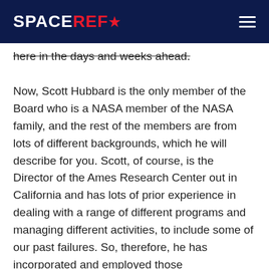SPACEREF*
here in the days and weeks ahead.
Now, Scott Hubbard is the only member of the Board who is a NASA member of the NASA family, and the rest of the members are from lots of different backgrounds, which he will describe for you. Scott, of course, is the Director of the Ames Research Center out in California and has lots of prior experience in dealing with a range of different programs and managing different activities, to include some of our past failures. So, therefore, he has incorporated and employed those